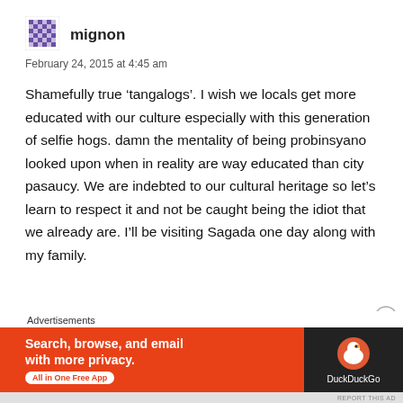[Figure (illustration): User avatar icon — a small square pixel/mosaic style avatar in purple/blue tones]
mignon
February 24, 2015 at 4:45 am
Shamefully true ‘tangalogs’. I wish we locals get more educated with our culture especially with this generation of selfie hogs. damn the mentality of being probinsyano looked upon when in reality are way educated than city pasaucy. We are indebted to our cultural heritage so let’s learn to respect it and not be caught being the idiot that we already are. I’ll be visiting Sagada one day along with my family.
Advertisements
[Figure (screenshot): DuckDuckGo advertisement banner: orange background with text 'Search, browse, and email with more privacy. All in One Free App' and DuckDuckGo logo on dark right panel]